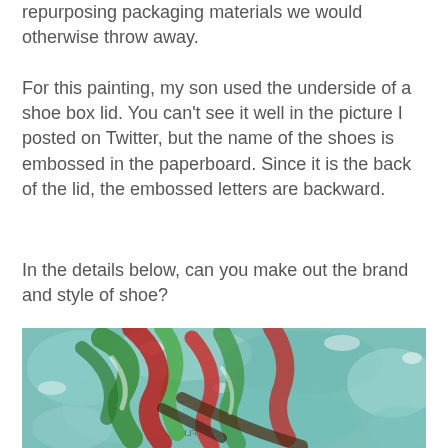repurposing packaging materials we would otherwise throw away.
For this painting, my son used the underside of a shoe box lid. You can't see it well in the picture I posted on Twitter, but the name of the shoes is embossed in the paperboard. Since it is the back of the lid, the embossed letters are backward.
In the details below, can you make out the brand and style of shoe?
[Figure (photo): Close-up photograph of a child's painting on the underside of a shoe box lid, showing green, red, and teal brush strokes with some embossed text visible in the cardboard.]